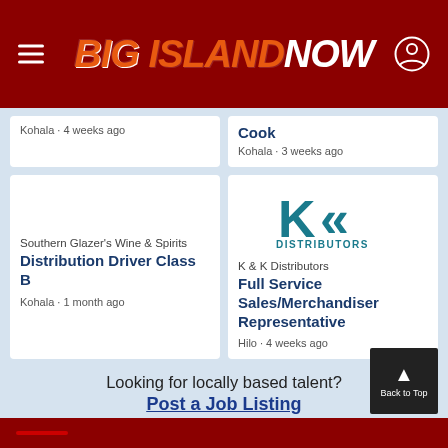BIG ISLAND NOW
Kohala · 4 weeks ago
Cook
Kohala · 3 weeks ago
Southern Glazer's Wine & Spirits
Distribution Driver Class B
Kohala · 1 month ago
[Figure (logo): K & K Distributors logo with teal double-arrow K symbol]
K & K Distributors
Full Service Sales/Merchandiser Representative
Hilo · 4 weeks ago
Looking for locally based talent?
Post a Job Listing